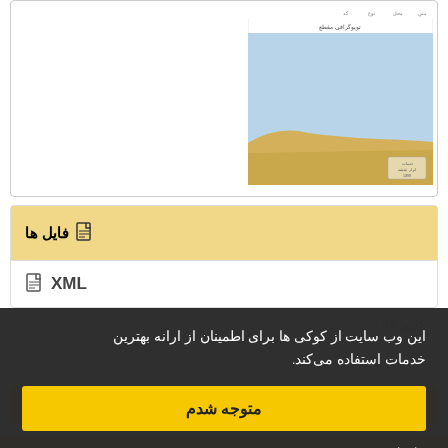[Figure (illustration): Top card showing a map/diagram with light blue sky area and sandy/golden ground area at the bottom, with some small text labels. The illustration appears to be a cross-section or landscape diagram.]
فایل ها
XML
این وب سایت از کوکی ها برای اطمینان از ارانه بهترین خدمات استفاده می‌کند.
متوجه شدم